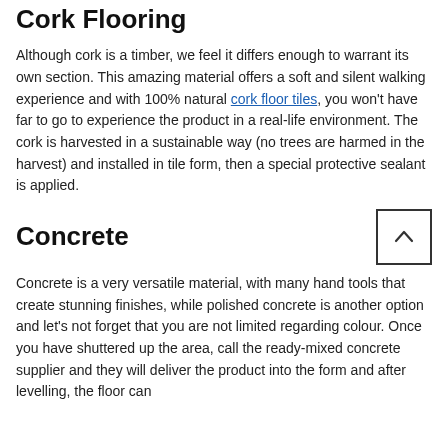Cork Flooring
Although cork is a timber, we feel it differs enough to warrant its own section. This amazing material offers a soft and silent walking experience and with 100% natural cork floor tiles, you won't have far to go to experience the product in a real-life environment. The cork is harvested in a sustainable way (no trees are harmed in the harvest) and installed in tile form, then a special protective sealant is applied.
Concrete
Concrete is a very versatile material, with many hand tools that create stunning finishes, while polished concrete is another option and let's not forget that you are not limited regarding colour. Once you have shuttered up the area, call the ready-mixed concrete supplier and they will deliver the product into the form and after levelling, the floor can